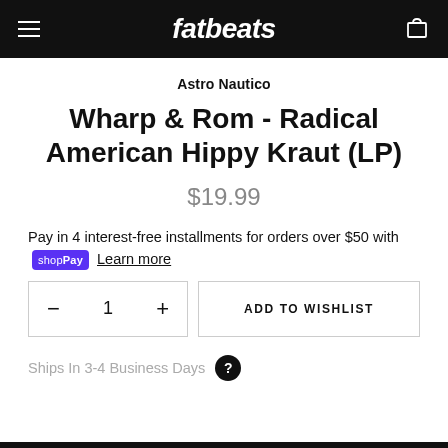fatbeats
Astro Nautico
Wharp & Rom - Radical American Hippy Kraut (LP)
$19.99
Pay in 4 interest-free installments for orders over $50 with Shop Pay Learn more
1  ADD TO WISHLIST
Ships In 3-4 Business Days